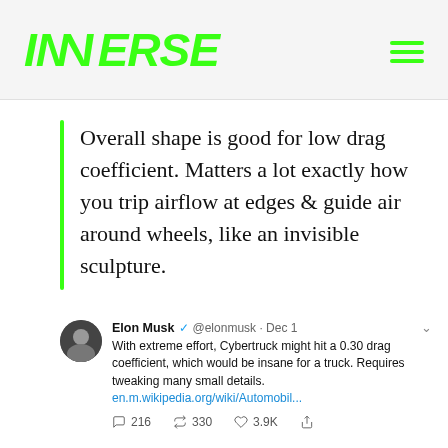INVERSE
Overall shape is good for low drag coefficient. Matters a lot exactly how you trip airflow at edges & guide air around wheels, like an invisible sculpture.
[Figure (screenshot): Screenshot of a tweet by Elon Musk (@elonmusk, Dec 1) reading: 'With extreme effort, Cybertruck might hit a 0.30 drag coefficient, which would be insane for a truck. Requires tweaking many small details. en.m.wikipedia.org/wiki/Automobil...' with 216 replies, 330 retweets, 3.9K likes.]